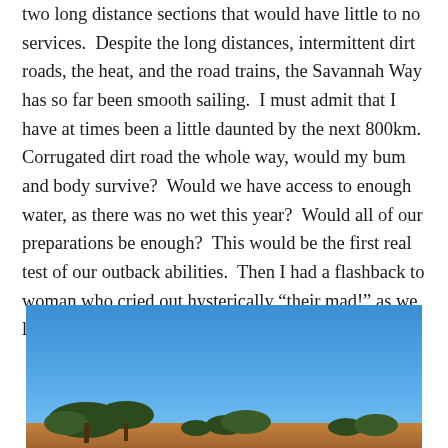two long distance sections that would have little to no services.  Despite the long distances, intermittent dirt roads, the heat, and the road trains, the Savannah Way has so far been smooth sailing.  I must admit that I have at times been a little daunted by the next 800km.  Corrugated dirt road the whole way, would my bum and body survive?  Would we have access to enough water, as there was no wet this year?  Would all of our preparations be enough?  This would be the first real test of our outback abilities.  Then I had a flashback to woman who cried out hysterically “their mad!” as we left Leichardt Falls.  I laughed and knew I was ready.
[Figure (photo): Outdoor photo showing a blue sky with sparse trees visible at the bottom, taken in an Australian outback setting.]